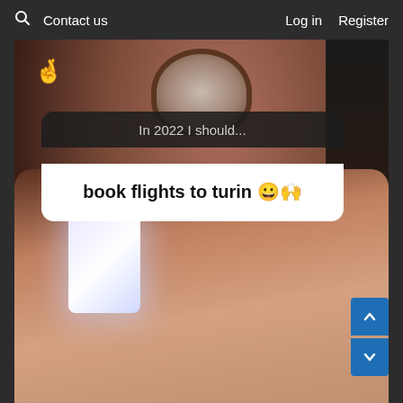🔍 Contact us   Log in  Register
[Figure (screenshot): Screenshot of a social media Instagram story showing a photo taken on an airplane. A person holds a baby while looking at a phone. Over the photo is a text overlay that reads 'In 2022 I should...' followed by a white card saying 'book flights to turin 😀🙌'. A crossed fingers emoji appears in the upper left. Navigation up/down arrows appear in bottom right corner.]